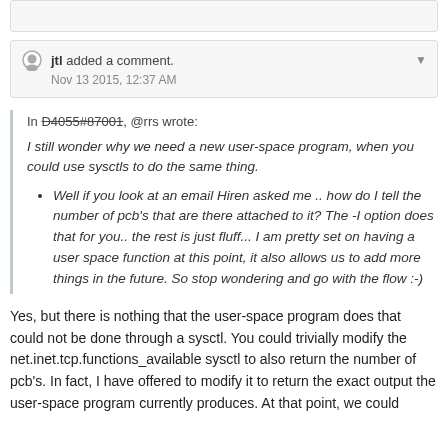jtl added a comment. Nov 13 2015, 12:37 AM
In D4055#87001, @rrs wrote: I still wonder why we need a new user-space program, when you could use sysctls to do the same thing. Well if you look at an email Hiren asked me .. how do I tell the number of pcb's that are there attached to it? The -I option does that for you.. the rest is just fluff... I am pretty set on having a user space function at this point, it also allows us to add more things in the future. So stop wondering and go with the flow :-)
Yes, but there is nothing that the user-space program does that could not be done through a sysctl. You could trivially modify the net.inet.tcp.functions_available sysctl to also return the number of pcb's. In fact, I have offered to modify it to return the exact output the user-space program currently produces. At that point, we could